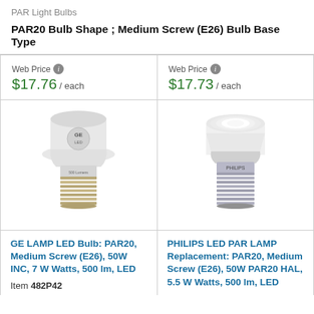PAR Light Bulbs
PAR20 Bulb Shape ; Medium Screw (E26) Bulb Base Type
Web Price $17.76 / each
Web Price $17.73 / each
[Figure (photo): GE LED PAR20 light bulb with medium screw base]
[Figure (photo): Philips LED PAR20 light bulb with medium screw base]
GE LAMP LED Bulb: PAR20, Medium Screw (E26), 50W INC, 7 W Watts, 500 lm, LED
Item 482P42
PHILIPS LED PAR LAMP Replacement: PAR20, Medium Screw (E26), 50W PAR20 HAL, 5.5 W Watts, 500 lm, LED